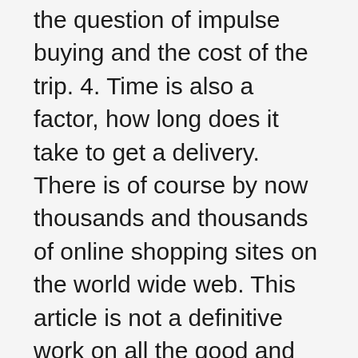the question of impulse buying and the cost of the trip. 4. Time is also a factor, how long does it take to get a delivery. There is of course by now thousands and thousands of online shopping sites on the world wide web. This article is not a definitive work on all the good and bad of online shopping, it is designed to make you think. If you are one of the very fortunate and can achieve both you have got it made. For other mere mortals a compromise will need to be made but as this phenomena is on the rise we have very little choice but eventually go with the flow. You just have to love Americans. We are talkative, sharing, boisterous, assistance orientated, outgoing, and a whole melting pot of comradely. We Email, text, blog, network, video, journal, write, visit and